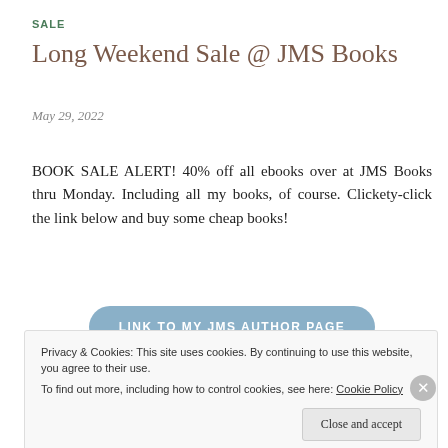SALE
Long Weekend Sale @ JMS Books
May 29, 2022
BOOK SALE ALERT! 40% off all ebooks over at JMS Books thru Monday. Including all my books, of course. Clickety-click the link below and buy some cheap books!
LINK TO MY JMS AUTHOR PAGE
[Figure (illustration): Three book covers: a blue statue, 'It Rained All Night' by Nell Iris, and 'Nell Iris' title card]
Privacy & Cookies: This site uses cookies. By continuing to use this website, you agree to their use.
To find out more, including how to control cookies, see here: Cookie Policy
Close and accept